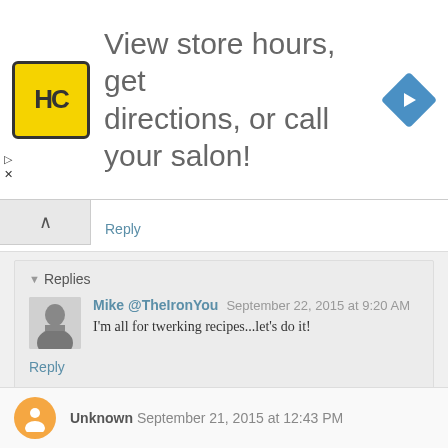[Figure (infographic): Advertisement banner with HC logo (yellow square with HC letters), text 'View store hours, get directions, or call your salon!', and a blue diamond-shaped navigation arrow icon]
Reply
▼ Replies
Mike @TheIronYou
September 22, 2015 at 9:20 AM
I'm all for twerking recipes...let's do it!
Reply
Unknown
September 21, 2015 at 12:43 PM